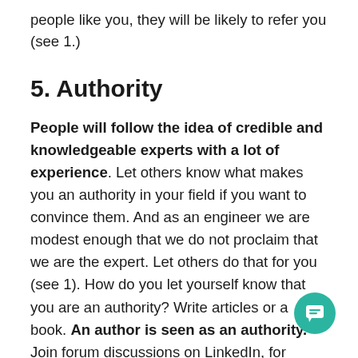people like you, they will be likely to refer you (see 1.)
5. Authority
People will follow the idea of credible and knowledgeable experts with a lot of experience. Let others know what makes you an authority in your field if you want to convince them. And as an engineer we are modest enough that we do not proclaim that we are the expert. Let others do that for you (see 1). How do you let yourself know that you are an authority? Write articles or a book. An author is seen as an authority. Join forum discussions on LinkedIn, for example, but also at conferences.
6. Commit...